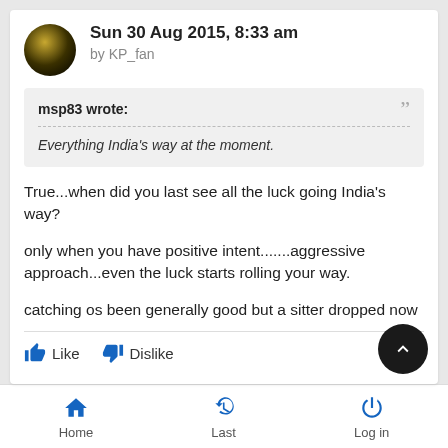Sun 30 Aug 2015, 8:33 am by KP_fan
msp83 wrote: Everything India's way at the moment.
True...when did you last see all the luck going India's way?
only when you have positive intent.......aggressive approach...even the luck starts rolling your way.
catching os been generally good but a sitter dropped now
Home  Last  Log in